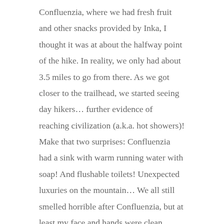Confluenzia, where we had fresh fruit and other snacks provided by Inka, I thought it was at about the halfway point of the hike. In reality, we only had about 3.5 miles to go from there. As we got closer to the trailhead, we started seeing day hikers... further evidence of reaching civilization (a.k.a. hot showers)! Make that two surprises: Confluenzia had a sink with warm running water with soap! And flushable toilets! Unexpected luxuries on the mountain... We all still smelled horrible after Confluenzia, but at least my face and hands were clean.
February 21 – Penitentes to Mendoza